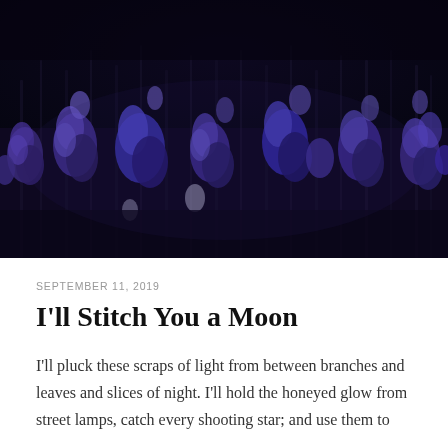[Figure (photo): Dark atmospheric photograph of a field of purple/blue wildflowers against a very dark, almost black background, taken at night or in low light. The flowers appear to be lupines or similar tall flowering plants with blue-purple blooms. The image has a moody, ethereal quality.]
SEPTEMBER 11, 2019
I'll Stitch You a Moon
I'll pluck these scraps of light from between branches and leaves and slices of night. I'll hold the honeyed glow from street lamps, catch every shooting star; and use them to